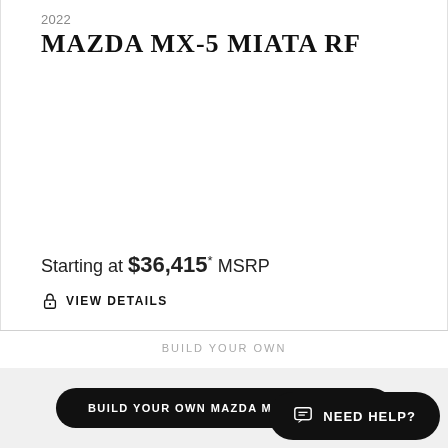2022
MAZDA MX-5 MIATA RF
Starting at $36,415* MSRP
VIEW DETAILS
BUILD YOUR OWN
BUILD YOUR OWN MAZDA MX-5 MIATA RF
NEED HELP?